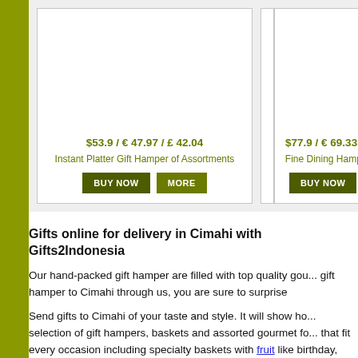$53.9 / € 47.97 / £ 42.04
Instant Platter Gift Hamper of Assortments
$77.9 / € 69.33 / £ 60.7...
Fine Dining Hamper of Go...
Gifts online for delivery in Cimahi with Gifts2Indonesia
Our hand-packed gift hamper are filled with top quality gou... gift hamper to Cimahi through us, you are sure to surprise ...
Send gifts to Cimahi of your taste and style. It will show ho... selection of gift hampers, baskets and assorted gourmet fo... that fit every occasion including specialty baskets with fruit ... like birthday, Christmas, anniversary, wedding, congratulat...